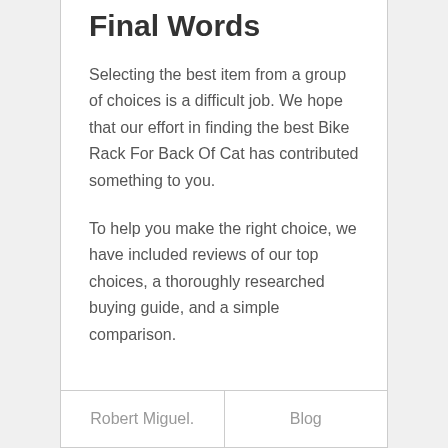Final Words
Selecting the best item from a group of choices is a difficult job. We hope that our effort in finding the best Bike Rack For Back Of Cat has contributed something to you.
To help you make the right choice, we have included reviews of our top choices, a thoroughly researched buying guide, and a simple comparison.
Robert Miguel.   Blog